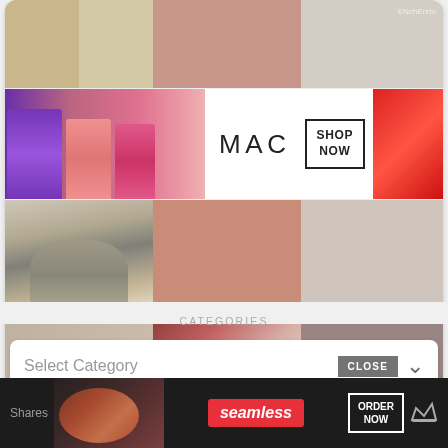[Figure (screenshot): Pinterest widget showing a grid of pinned images including food, lipsticks, MAC cosmetics ad, kitchen mixer, color swatches. Below grid is a 'Follow On Pinterest' button.]
[Figure (screenshot): MAC Cosmetics advertisement banner with lipsticks, MAC logo, and SHOP NOW button.]
Follow On Pinterest
CATEGORIES
Select Category
CLOSE
Shares
[Figure (screenshot): Seamless food delivery advertisement with pizza image, Seamless logo, and ORDER NOW button.]